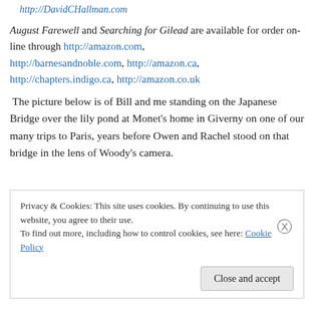http://DavidCHallman.com
August Farewell and Searching for Gilead are available for order on-line through http://amazon.com, http://barnesandnoble.com, http://amazon.ca, http://chapters.indigo.ca, http://amazon.co.uk
The picture below is of Bill and me standing on the Japanese Bridge over the lily pond at Monet's home in Giverny on one of our many trips to Paris, years before Owen and Rachel stood on that bridge in the lens of Woody's camera.
Privacy & Cookies: This site uses cookies. By continuing to use this website, you agree to their use. To find out more, including how to control cookies, see here: Cookie Policy
Close and accept